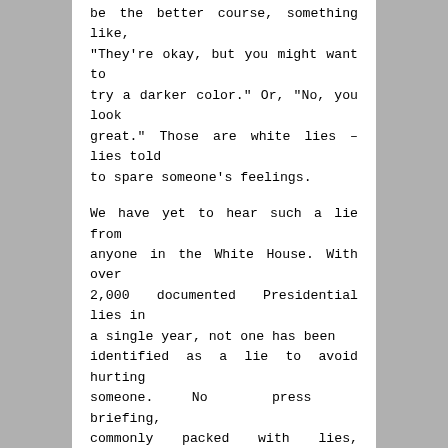be the better course, something like, "They're okay, but you might want to try a darker color." Or, "No, you look great." Those are white lies – lies told to spare someone's feelings.
We have yet to hear such a lie from anyone in the White House. With over 2,000 documented Presidential lies in a single year, not one has been identified as a lie to avoid hurting someone. No press briefing, commonly packed with lies, distortions and misdirection has included white lies. Not a single cabinet briefing has included a white lie. It beggars belief that Hope Hicks, alone in a swamp of lies, would be the sole dispenser of white lies, this in the name of the President of prevarication.
No, she's just another West Wing liar...